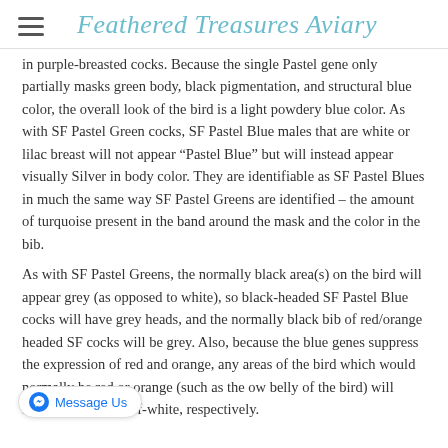Feathered Treasures Aviary
in purple-breasted cocks. Because the single Pastel gene only partially masks green body, black pigmentation, and structural blue color, the overall look of the bird is a light powdery blue color. As with SF Pastel Green cocks, SF Pastel Blue males that are white or lilac breast will not appear “Pastel Blue” but will instead appear visually Silver in body color. They are identifiable as SF Pastel Blues in much the same way SF Pastel Greens are identified – the amount of turquoise present in the band around the mask and the color in the bib.
As with SF Pastel Greens, the normally black area(s) on the bird will appear grey (as opposed to white), so black-headed SF Pastel Blue cocks will have grey heads, and the normally black bib of red/orange headed SF cocks will be grey. Also, because the blue genes suppress the expression of red and orange, any areas of the bird which would normally be red or orange (such as the … ow belly of the bird) will appear salmon or off-white, respectively.